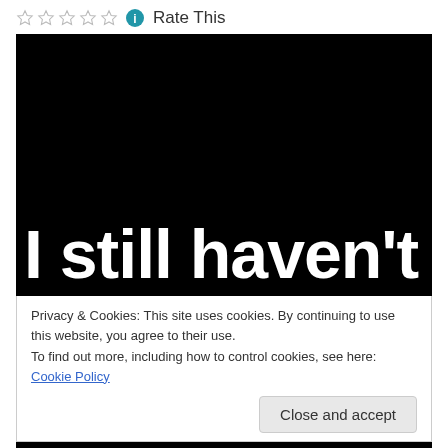Rate This
[Figure (screenshot): Black background image with large white bold text reading 'I still haven't']
Privacy & Cookies: This site uses cookies. By continuing to use this website, you agree to their use.
To find out more, including how to control cookies, see here: Cookie Policy
Close and accept